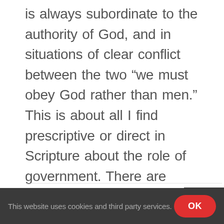is always subordinate to the authority of God, and in situations of clear conflict between the two “we must obey God rather than men.” This is about all I find prescriptive or direct in Scripture about the role of government. There are several roles implied by [...]
Read more »
This website uses cookies and third party services.